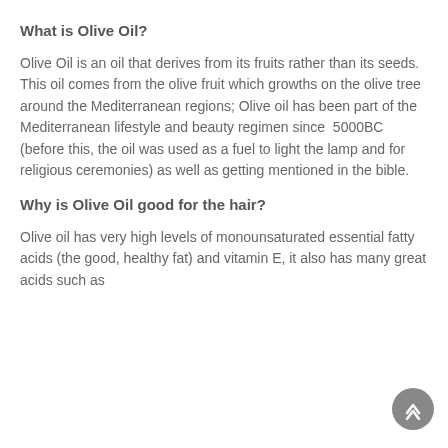What is Olive Oil?
Olive Oil is an oil that derives from its fruits rather than its seeds. This oil comes from the olive fruit which growths on the olive tree around the Mediterranean regions; Olive oil has been part of the Mediterranean lifestyle and beauty regimen since  5000BC (before this, the oil was used as a fuel to light the lamp and for religious ceremonies) as well as getting mentioned in the bible.
Why is Olive Oil good for the hair?
Olive oil has very high levels of monounsaturated essential fatty acids (the good, healthy fat) and vitamin E, it also has many great acids such as